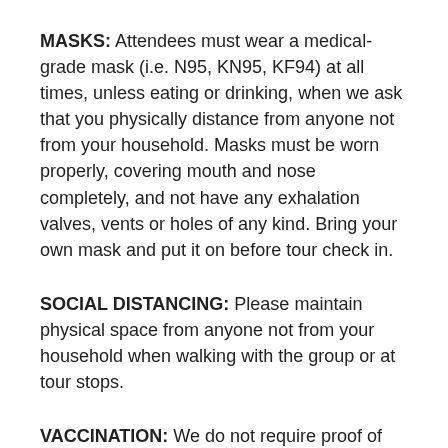MASKS: Attendees must wear a medical-grade mask (i.e. N95, KN95, KF94) at all times, unless eating or drinking, when we ask that you physically distance from anyone not from your household. Masks must be worn properly, covering mouth and nose completely, and not have any exhalation valves, vents or holes of any kind. Bring your own mask and put it on before tour check in.
SOCIAL DISTANCING: Please maintain physical space from anyone not from your household when walking with the group or at tour stops.
VACCINATION: We do not require proof of